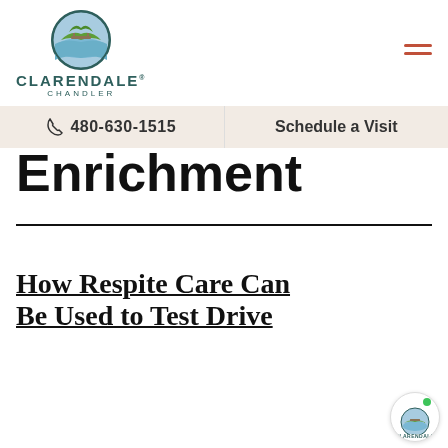Clarendale Chandler logo with phone number 480-630-1515 and Schedule a Visit link
Enrichment
How Respite Care Can Be Used to Test Drive